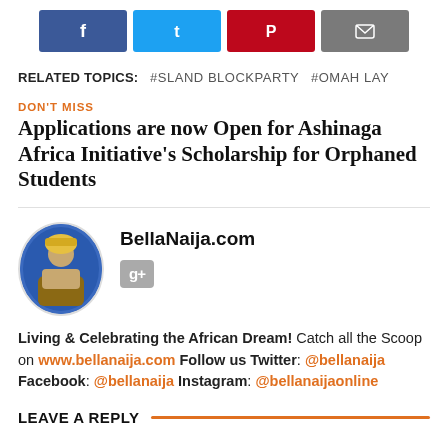[Figure (infographic): Social share buttons row: Facebook (blue), Twitter (light blue), Pinterest (red), Email (gray)]
RELATED TOPICS:  #SLAND BLOCKPARTY  #OMAH LAY
DON'T MISS
Applications are now Open for Ashinaga Africa Initiative's Scholarship for Orphaned Students
[Figure (photo): Circular avatar image for BellaNaija.com author with a blue background showing a person in traditional attire]
BellaNaija.com
Living & Celebrating the African Dream! Catch all the Scoop on www.bellanaija.com Follow us Twitter: @bellanaija Facebook: @bellanaija Instagram: @bellanaijaonline
LEAVE A REPLY